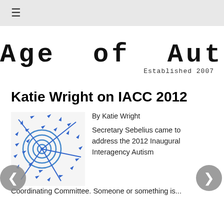≡
[Figure (logo): Age of Autism logo with distressed typewriter-style font, red letter 'i' in Autism, subtitle Established 2007]
Katie Wright on IACC 2012
[Figure (illustration): Blue arrows pointing at a circular target/bullseye on white background]
By Katie Wright
Secretary Sebelius came to address the 2012 Inaugural Interagency Autism
Coordinating Committee. Someone or something is...